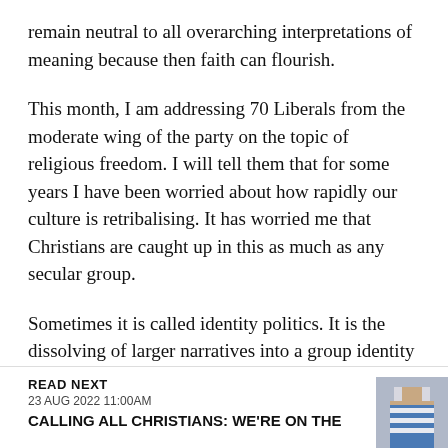remain neutral to all overarching interpretations of meaning because then faith can flourish.
This month, I am addressing 70 Liberals from the moderate wing of the party on the topic of religious freedom. I will tell them that for some years I have been worried about how rapidly our culture is retribalising. It has worried me that Christians are caught up in this as much as any secular group.
Sometimes it is called identity politics. It is the dissolving of larger narratives into a group identity
READ NEXT
23 AUG 2022 11:00AM
CALLING ALL CHRISTIANS: WE'RE ON THE
[Figure (photo): Thumbnail photo of a person wearing a striped blue and white top, cropped tightly]